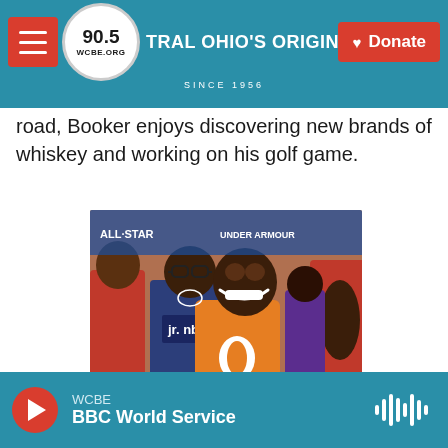90.5 WCBE — CENTRAL OHIO'S ORIGINAL NPR STATION SINCE 1956 | Donate
road, Booker enjoys discovering new brands of whiskey and working on his golf game.
[Figure (photo): A smiling woman wearing an orange WNBA hoodie stands among a group of people including a man in a jr. NBA Under Armour shirt at what appears to be an NBA All-Star event]
WCBE — BBC World Service (audio player)